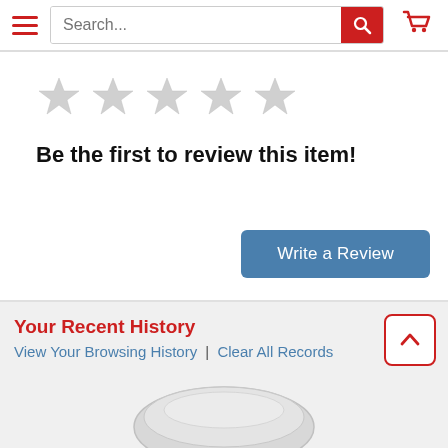[Figure (screenshot): E-commerce website header with hamburger menu, search bar, and shopping cart icon]
[Figure (other): Five empty/unrated grey star icons for product rating]
Be the first to review this item!
[Figure (other): Blue 'Write a Review' button]
Your Recent History
View Your Browsing History | Clear All Records
[Figure (other): Partial product image (white/grey circular dish or plate) at bottom of page]